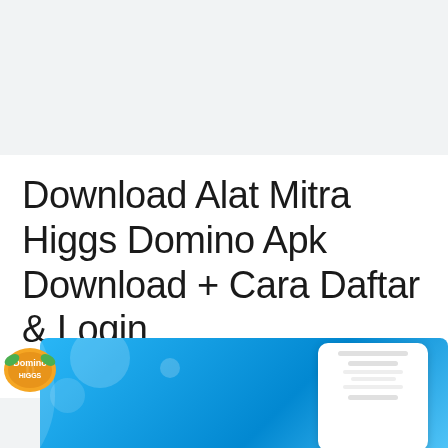Download Alat Mitra Higgs Domino Apk Download + Cara Daftar & Login
16/08/2022 oleh Admin
[Figure (screenshot): Higgs Domino game app banner with blue background, circular decorative elements, logo in bottom-left, and phone mockup showing app interface on the right]